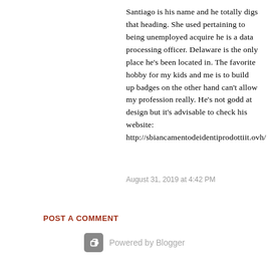Santiago is his name and he totally digs that heading. She used pertaining to being unemployed acquire he is a data processing officer. Delaware is the only place he's been located in. The favorite hobby for my kids and me is to build up badges on the other hand can't allow my profession really. He's not godd at design but it's advisable to check his website: http://sbiancamentodeidentiprodottiit.ovh/
August 31, 2019 at 4:42 PM
POST A COMMENT
Powered by Blogger